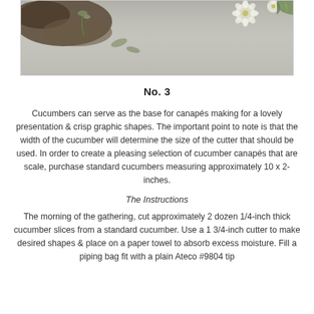[Figure (photo): Top portion of a food/recipe photo showing flowers and plant sprigs on a gray stone or concrete surface]
No. 3
Cucumbers can serve as the base for canapés making for a lovely presentation & crisp graphic shapes. The important point to note is that the width of the cucumber will determine the size of the cutter that should be used. In order to create a pleasing selection of cucumber canapés that are scale, purchase standard cucumbers measuring approximately 10 x 2-inches.
The Instructions
The morning of the gathering, cut approximately 2 dozen 1/4-inch thick cucumber slices from a standard cucumber. Use a 1 3/4-inch cutter to make desired shapes & place on a paper towel to absorb excess moisture. Fill a piping bag fit with a plain Ateco #9804 tip